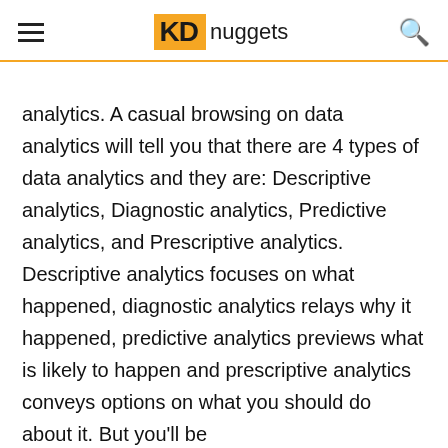KDnuggets
analytics. A casual browsing on data analytics will tell you that there are 4 types of data analytics and they are: Descriptive analytics, Diagnostic analytics, Predictive analytics, and Prescriptive analytics. Descriptive analytics focuses on what happened, diagnostic analytics relays why it happened, predictive analytics previews what is likely to happen and prescriptive analytics conveys options on what you should do about it. But you'll be